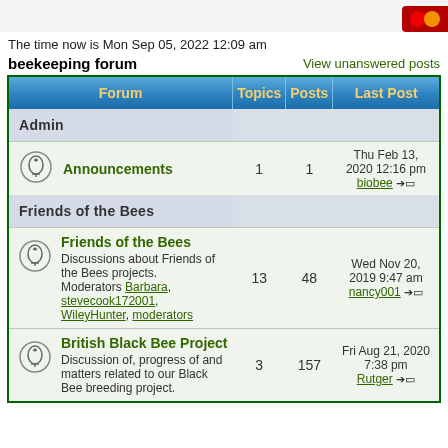The time now is Mon Sep 05, 2022 12:09 am
beekeeping forum
View unanswered posts
| Forum | Topics | Posts | Last Post |
| --- | --- | --- | --- |
| Admin |  |  |  |
| Announcements | 1 | 1 | Thu Feb 13, 2020 12:16 pm biobee |
| Friends of the Bees |  |  |  |
| Friends of the Bees — Discussions about Friends of the Bees projects. Moderators Barbara, stevecook172001, WileyHunter, moderators | 13 | 48 | Wed Nov 20, 2019 9:47 am nancy001 |
| British Black Bee Project — Discussion of, progress of and matters related to our Black Bee breeding project. | 3 | 157 | Fri Aug 21, 2020 7:38 pm Rutger |